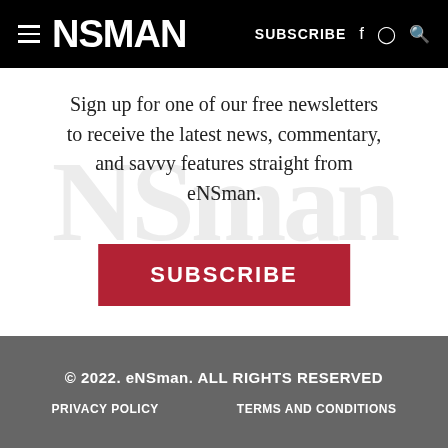NSman — SUBSCRIBE
Sign up for one of our free newsletters to receive the latest news, commentary, and savvy features straight from eNSman.
SUBSCRIBE
© 2022. eNSman. ALL RIGHTS RESERVED
PRIVACY POLICY    TERMS AND CONDITIONS